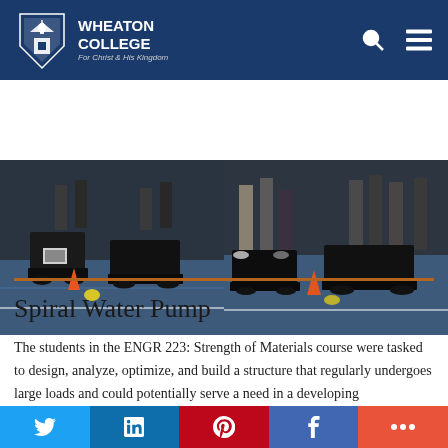Wheaton College — For Christ & His Kingdom
[Figure (photo): Two photos side by side showing students at an engineering competition with metal robot/vehicle structures on a blue gymnasium floor, orange safety cones visible]
Spiral Water Pump
The students in the ENGR 223: Strength of Materials course were tasked to design, analyze, optimize, and build a structure that regularly undergoes large loads and could potentially serve a need in a developing
Social share bar: Twitter, LinkedIn, Pinterest, Facebook, More